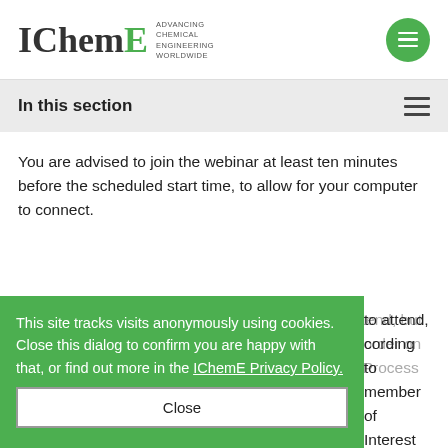IChemE ADVANCING CHEMICAL ENGINEERING WORLDWIDE
In this section
You are advised to join the webinar at least ten minutes before the scheduled start time, to allow for your computer to connect.
This site tracks visits anonymously using cookies. Close this dialog to confirm you are happy with that, or find out more in the IChemE Privacy Policy.
This webinar is free of charge and open to all to attend, but if you wish to access the slides and a recording to order on demand then you will need to be a member of the Process Management and Control Special Interest Group.